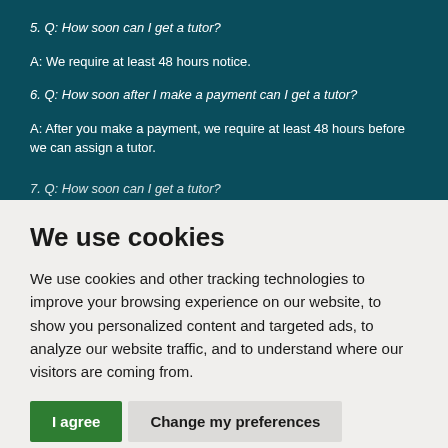5. Q: How soon can I get a tutor?
A: We require at least 48 hours notice.
6. Q: How soon after I make a payment can I get a tutor?
A: After you make a payment, we require at least 48 hours before we can assign a tutor.
We use cookies
We use cookies and other tracking technologies to improve your browsing experience on our website, to show you personalized content and targeted ads, to analyze our website traffic, and to understand where our visitors are coming from.
I agree   Change my preferences